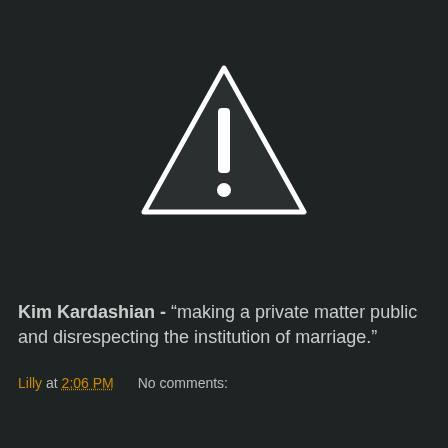[Figure (illustration): Warning triangle icon with exclamation mark, white outline on dark background]
Kim Kardashian - “making a private matter public and disrespecting the institution of marriage.”
Lilly at 2:06 PM    No comments:
Share